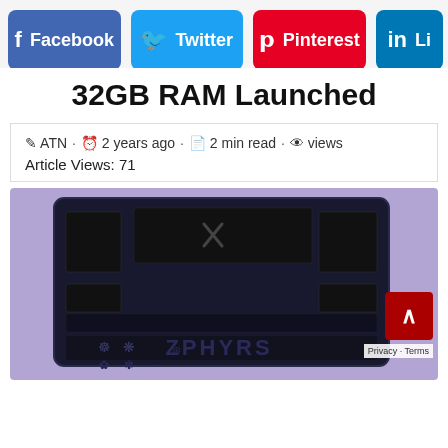Facebook | Twitter | Pinterest | LinkedIn
32GB RAM Launched
ATN · 2 years ago · 2 min read · views
Article Views: 71
[Figure (photo): Bottom of an ASUS ROG Zephyrus laptop on a purple background, showing the ZPHYRS branding and ROG logo]